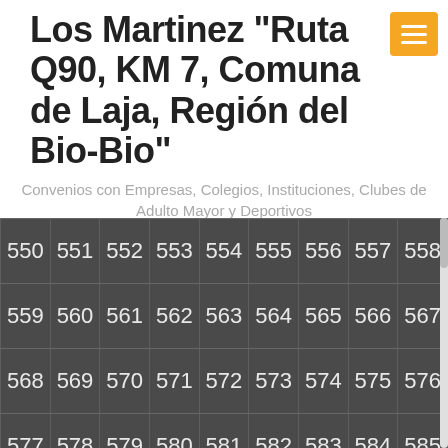Los Martinez "Ruta Q90, KM 7, Comuna de Laja, Región del Bio-Bio"
Convenios con Empresas, Colegios, Instituciones, Clubes de Adulto Mayor y Deportivos
| 550 | 551 | 552 | 553 | 554 | 555 | 556 | 557 | 558 |
| 559 | 560 | 561 | 562 | 563 | 564 | 565 | 566 | 567 |
| 568 | 569 | 570 | 571 | 572 | 573 | 574 | 575 | 576 |
| 577 | 578 | 579 | 580 | 581 | 582 | 583 | 584 | 585 |
| 586 | 587 | 588 | 589 | 590 | 591 | 592 | 593 | 594 |
| 595 | 596 | 597 | 598 | 599 | 600 | 601 | 602 | 603 |